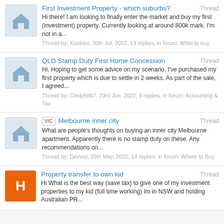First Investment Property - which suburbs? Thread
Hi there! I am looking to finally enter the market and buy my first (investment) property. Currently looking at around 800k mark. I'm not in a...
Thread by: Kookies, 30th Jul, 2022, 13 replies, in forum: What to buy
QLD Stamp Duty First Home Concession Thread
Hi, Hoping to get some advice on my scenario. I've purchased my first property which is due to settle in 2 weeks. As part of the sale, I agreed...
Thread by: Cindy5867, 23rd Jun, 2022, 9 replies, in forum: Accounting & Tax
VIC Melbourne inner city Thread
What are people's thoughts on buying an inner city Melbourne apartment. Apparently there is no stamp duty on these. Any recommendations on...
Thread by: Devvvy, 25th May, 2022, 14 replies, in forum: Where to Buy
Property transfer to own kid Thread
Hi What is the best way (save tax) to give one of my investment properties to my kid (full time working) Im in NSW and holding Australian PR...